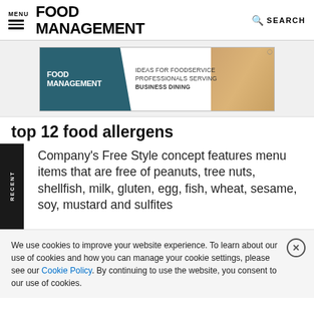MENU | FOOD MANAGEMENT | SEARCH
[Figure (infographic): Food Management advertisement banner: IDEAS FOR FOODSERVICE PROFESSIONALS SERVING BUSINESS DINING]
top 12 food allergens
Company's Free Style concept features menu items that are free of peanuts, tree nuts, shellfish, milk, gluten, egg, fish, wheat, sesame, soy, mustard and sulfites
We use cookies to improve your website experience. To learn about our use of cookies and how you can manage your cookie settings, please see our Cookie Policy. By continuing to use the website, you consent to our use of cookies.